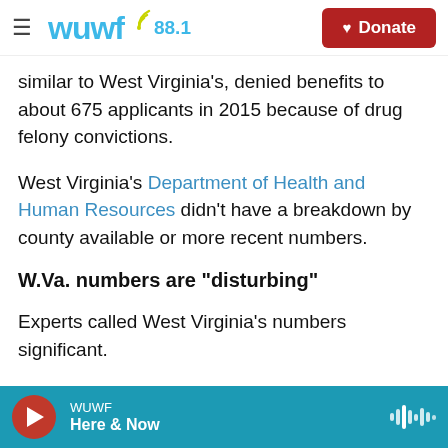WUWF 88.1
similar to West Virginia's, denied benefits to about 675 applicants in 2015 because of drug felony convictions.
West Virginia's Department of Health and Human Resources didn't have a breakdown by county available or more recent numbers.
W.Va. numbers are "disturbing"
Experts called West Virginia's numbers significant.
Marc Mauer, a leading expert on sentencing policy and director of the Washington, D.C.-based
WUWF — Here & Now